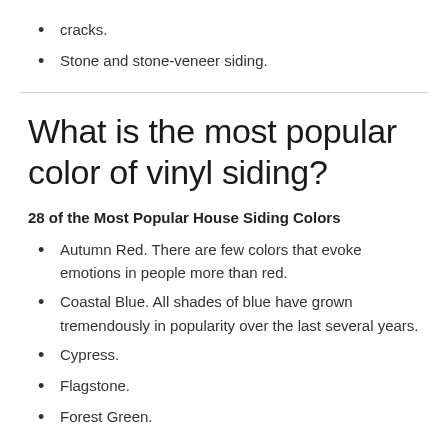cracks.
Stone and stone-veneer siding.
What is the most popular color of vinyl siding?
28 of the Most Popular House Siding Colors
Autumn Red. There are few colors that evoke emotions in people more than red.
Coastal Blue. All shades of blue have grown tremendously in popularity over the last several years.
Cypress.
Flagstone.
Forest Green.